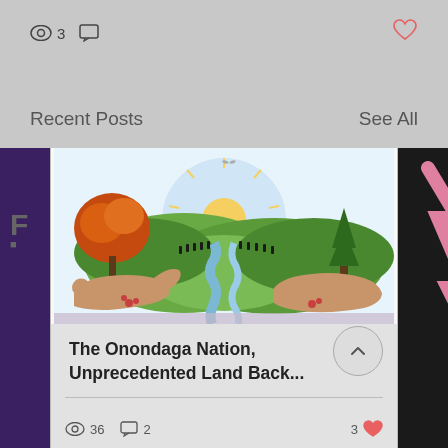[Figure (screenshot): View icon with count 3 and chat/comment icon]
Recent Posts
See All
[Figure (illustration): Onondaga Nation illustration: landscape with sun, mountains, river, trees, and hands holding the land]
The Onondaga Nation, Unprecedented Land Back...
36 views, 2 comments, 3 likes